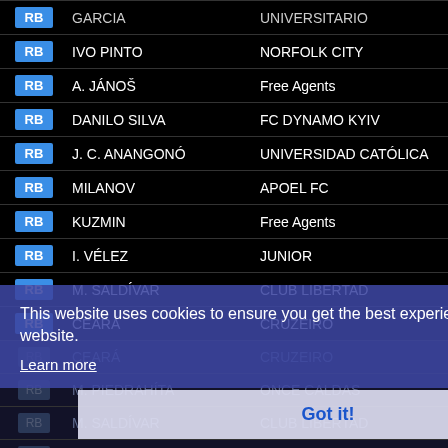| Pos | Player | Club |
| --- | --- | --- |
| RB | GARCIA | UNIVERSITARIO |
| RB | IVO PINTO | NORFOLK CITY |
| RB | A. JÁNOŠ | Free Agents |
| RB | DANILO SILVA | FC DYNAMO KYIV |
| RB | J. C. ANANGONÓ | UNIVERSIDAD CATÓLICA |
| RB | MILANOV | APOEL FC |
| RB | KUZMIN | Free Agents |
| RB | I. VÉLEZ | JUNIOR |
| RB | M. SALDÍVAR | CLUB LIBERTAD |
| RB | CEARÁ | CRUZEIRO |
| RB | CEARÁ | CRUZEIRO |
| RB | M. PIEDRAHÍTA | ONCE CALDAS |
| RB | M. SALDÍVAR | CLUB LIBERTAD |
| RB | J. RIVIEREZ | FC METZ |
| RB | I. BANDALOVSKI | FK PARTIZAN |
| RB | EDU | Free Agents |
| RB | N. EARDLEY | WEST MIDLANDS CITY |
| RB | MANUEL PABLO | RC DEPORTIVO |
| RB | C. DÍAZ | RACING CLUB AVELLANEDA |
This website uses cookies to ensure you get the best experience on our website.
Learn more
Got it!